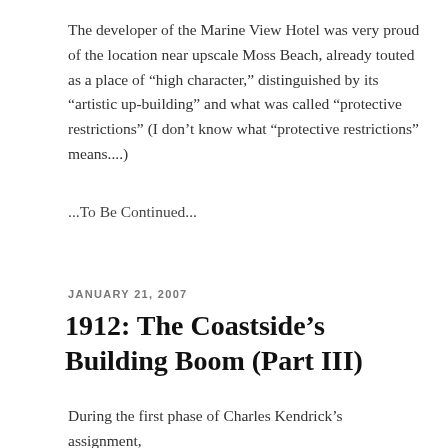The developer of the Marine View Hotel was very proud of the location near upscale Moss Beach, already touted as a place of “high character,” distinguished by its “artistic up-building” and what was called “protective restrictions” (I don’t know what “protective restrictions” means....)
...To Be Continued...
JANUARY 21, 2007
1912: The Coastside’s Building Boom (Part III)
During the first phase of Charles Kendrick’s assignment, he mapped out the land around Half Moon Bay for the...